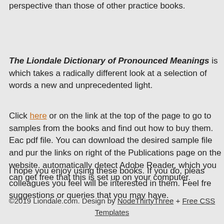perspective than those of other practice books.
The Liondale Dictionary of Pronounced Meanings is which takes a radically different look at a selection of words a new and unprecedented light.
Click here or on the link at the top of the page to go to samples from the books and find out how to buy them. Each pdf file. You can download the desired sample file and pur the links on right of the Publications page on the website. automatically detect Adobe Reader, which you can get free that this is set up on your computer.
I hope you enjoy using these books. If you do, please colleagues you feel will be interested in them. Feel free suggestions or queries that you may have.
©2019 Liondale.com. Design by NodeThirtyThree + Free CSS Templates